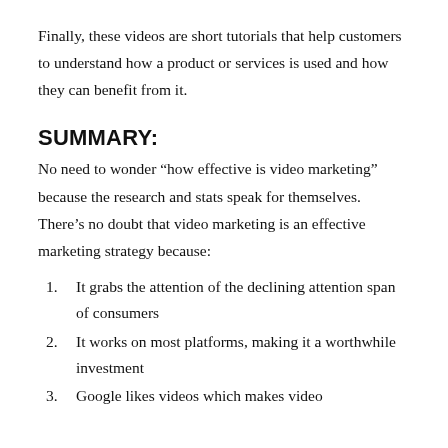Finally, these videos are short tutorials that help customers to understand how a product or services is used and how they can benefit from it.
SUMMARY:
No need to wonder “how effective is video marketing” because the research and stats speak for themselves. There’s no doubt that video marketing is an effective marketing strategy because:
It grabs the attention of the declining attention span of consumers
It works on most platforms, making it a worthwhile investment
Google likes videos which makes video